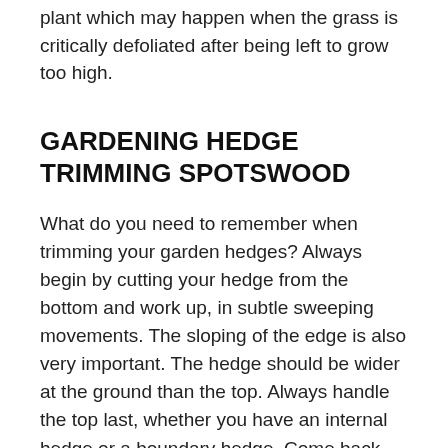as well as preventing physiological shock to the plant which may happen when the grass is critically defoliated after being left to grow too high.
GARDENING HEDGE TRIMMING SPOTSWOOD
What do you need to remember when trimming your garden hedges? Always begin by cutting your hedge from the bottom and work up, in subtle sweeping movements. The sloping of the edge is also very important. The hedge should be wider at the ground than the top. Always handle the top last, whether you have an internal hedge or a boundary hedge. Come back the following day and work on any parts that you